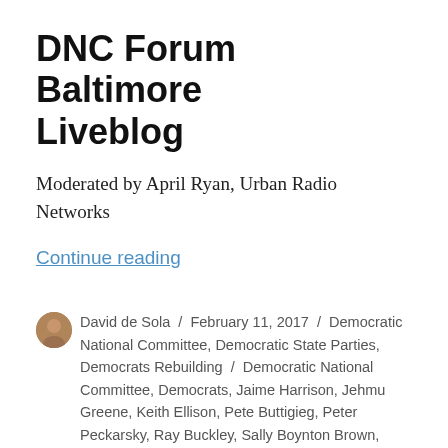DNC Forum Baltimore Liveblog
Moderated by April Ryan, Urban Radio Networks
Continue reading
David de Sola / February 11, 2017 / Democratic National Committee, Democratic State Parties, Democrats Rebuilding / Democratic National Committee, Democrats, Jaime Harrison, Jehmu Greene, Keith Ellison, Pete Buttigieg, Peter Peckarsky, Ray Buckley, Sally Boynton Brown, Sam Ronan, Tom Perez / Leave a comment